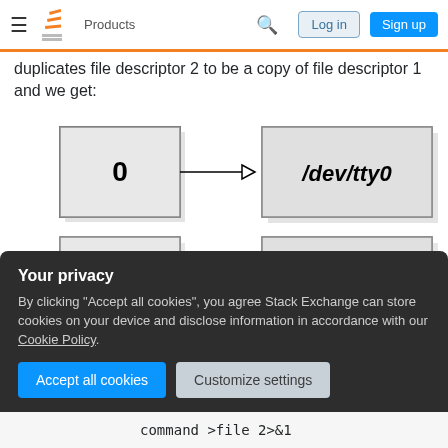≡  [Stack Overflow logo]  Products  🔍  Log in  Sign up
duplicates file descriptor 2 to be a copy of file descriptor 1 and we get:
[Figure (engineering-diagram): File descriptor diagram showing: box '0' connected with arrow to box '/dev/tty0'; box '1' connected with arrow to box 'file'; box '2' partially visible at bottom, with a line from '2' connecting up to the arrow from '1' to 'file', indicating fd 2 now points to the same resource as fd 1.]
Your privacy
By clicking "Accept all cookies", you agree Stack Exchange can store cookies on your device and disclose information in accordance with our Cookie Policy.
command >file 2>&1